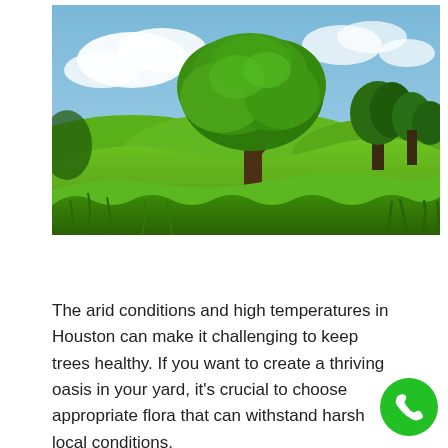[Figure (photo): A large oak tree standing in a lush green meadow under a blue sky with white clouds. Green rolling hills and more trees visible in the background.]
The arid conditions and high temperatures in Houston can make it challenging to keep trees healthy. If you want to create a thriving oasis in your yard, it's crucial to choose appropriate flora that can withstand harsh local conditions.